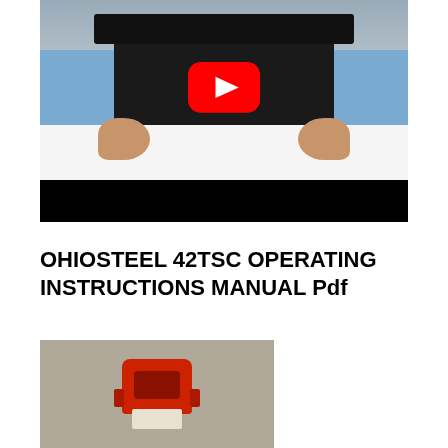[Figure (screenshot): YouTube video thumbnail showing two people in blue shirts handling a large black object on a white surface, with a red YouTube play button overlay. Below the scene is a black letterbox bar.]
OHIOSTEEL 42TSC OPERATING INSTRUCTIONS MANUAL Pdf
[Figure (photo): Photo of a red electrical connector (Anderson-style power connector) on a gray background, with a white/cream colored mating connector visible at the bottom.]